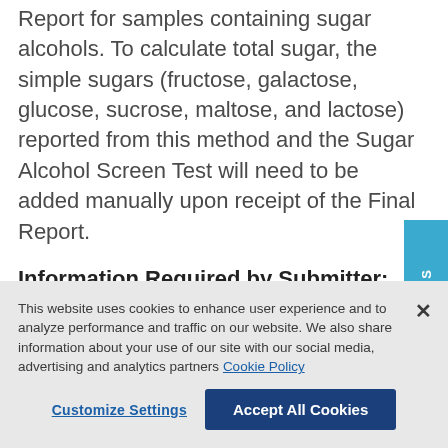Report for samples containing sugar alcohols. To calculate total sugar, the simple sugars (fructose, galactose, glucose, sucrose, maltose, and lactose) reported from this method and the Sugar Alcohol Screen Test will need to be added manually upon receipt of the Final Report.
Information Required by Submitter:
Please supply an estimate of the sugar and salt
CONTACT US
This website uses cookies to enhance user experience and to analyze performance and traffic on our website. We also share information about your use of our site with our social media, advertising and analytics partners Cookie Policy
Customize Settings
Accept All Cookies